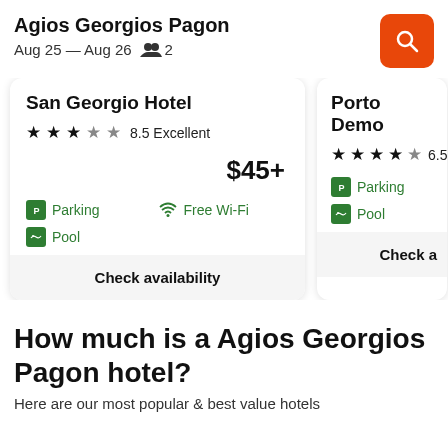Agios Georgios Pagon
Aug 25 — Aug 26  👥 2
San Georgio Hotel
★★★☆☆ 8.5 Excellent
$45+
Parking  Free Wi-Fi  Pool
Check availability
Porto Demo
★★★★☆ 6.5
Parking  Pool
Check a
How much is a Agios Georgios Pagon hotel?
Here are our most popular & best value hotels